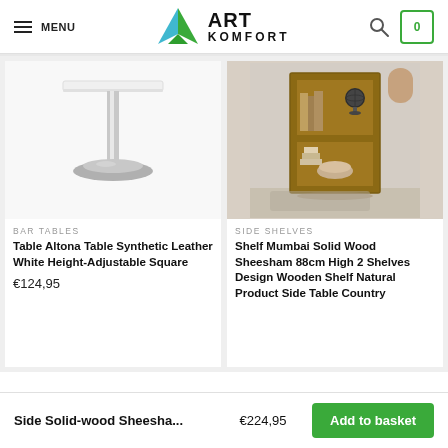MENU | ART KOMFORT
[Figure (photo): White pedestal bar table with chrome base on plain background]
BAR TABLES
Table Altona Table Synthetic Leather White Height-Adjustable Square
€124,95
[Figure (photo): Solid wood Sheesham bookshelf with 2 shelves containing books and decor items]
SIDE SHELVES
Shelf Mumbai Solid Wood Sheesham 88cm High 2 Shelves Design Wooden Shelf Natural Product Side Table Country
Side Solid-wood Sheesha... €224,95 Add to basket